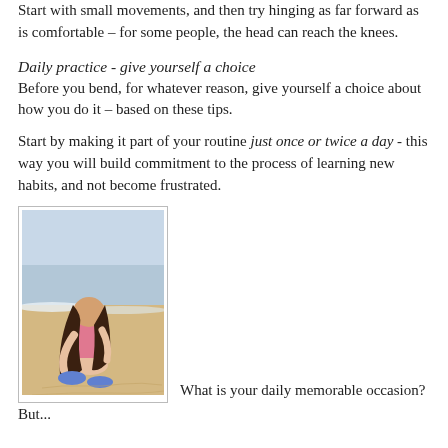Start with small movements, and then try hinging as far forward as is comfortable – for some people, the head can reach the knees.
Daily practice - give yourself a choice
Before you bend, for whatever reason, give yourself a choice about how you do it – based on these tips.
Start by making it part of your routine just once or twice a day - this way you will build commitment to the process of learning new habits, and not become frustrated.
[Figure (photo): A girl crouching on a beach, tying her shoe laces, with the sea in the background.]
What is your daily memorable occasion?
But...